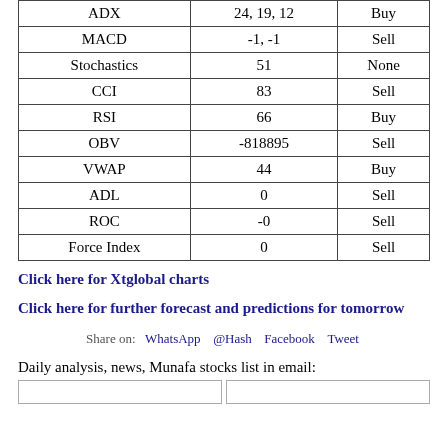|  |  |  |
| --- | --- | --- |
| ADX | 24, 19, 12 | Buy |
| MACD | -1, -1 | Sell |
| Stochastics | 51 | None |
| CCI | 83 | Sell |
| RSI | 66 | Buy |
| OBV | -818895 | Sell |
| VWAP | 44 | Buy |
| ADL | 0 | Sell |
| ROC | -0 | Sell |
| Force Index | 0 | Sell |
Click here for Xtglobal charts
Click here for further forecast and predictions for tomorrow
Share on: WhatsApp @Hash Facebook Tweet
Daily analysis, news, Munafa stocks list in email: